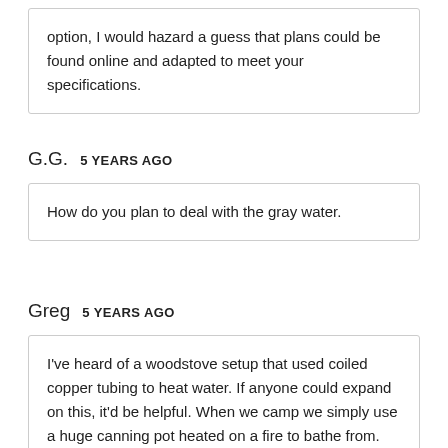option, I would hazard a guess that plans could be found online and adapted to meet your specifications.
G.G.   5 YEARS AGO
How do you plan to deal with the gray water.
Greg   5 YEARS AGO
I've heard of a woodstove setup that used coiled copper tubing to heat water. If anyone could expand on this, it'd be helpful. When we camp we simply use a huge canning pot heated on a fire to bathe from.